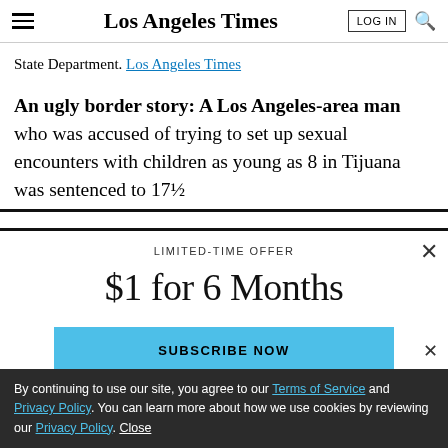Los Angeles Times
State Department. Los Angeles Times
An ugly border story: A Los Angeles-area man who was accused of trying to set up sexual encounters with children as young as 8 in Tijuana was sentenced to 17½
LIMITED-TIME OFFER
$1 for 6 Months
SUBSCRIBE NOW
By continuing to use our site, you agree to our Terms of Service and Privacy Policy. You can learn more about how we use cookies by reviewing our Privacy Policy. Close